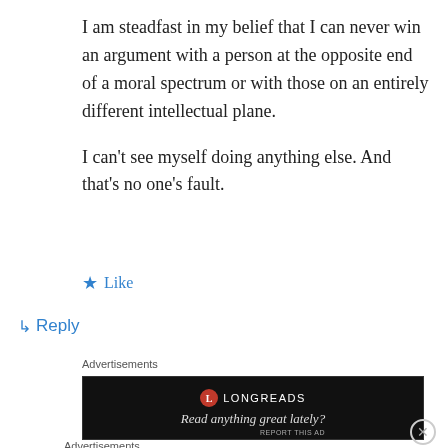I am steadfast in my belief that I can never win an argument with a person at the opposite end of a moral spectrum or with those on an entirely different intellectual plane.
I can't see myself doing anything else. And that's no one's fault.
★ Like
↳ Reply
Advertisements
[Figure (other): Longreads advertisement banner with black background. Shows Longreads logo and tagline: Read anything great lately?]
Advertisements
[Figure (other): DuckDuckGo advertisement banner. Left side orange with text: Search, browse, and email with more privacy. All in One Free App. Right side dark with DuckDuckGo logo.]